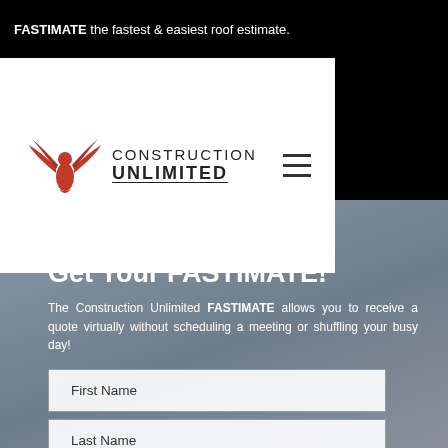FASTIMATE the fastest & easiest roof estimate.
[Figure (logo): Construction Unlimited logo with red eagle and company name, plus hamburger menu icon]
Get Your FASTIMATE!
The Construction Unlimited FASTIMATE allows you to receive a quote virtually without scheduling a meeting or shuffling your busy day!
First Name
Last Name
Email Address
Phone Number